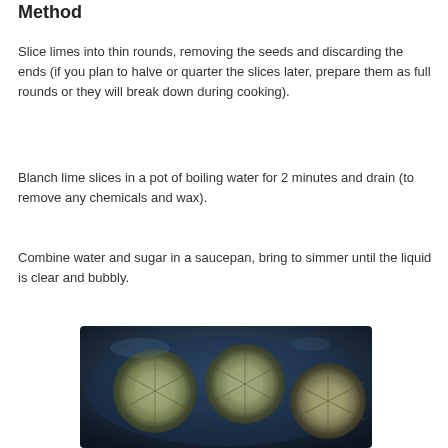Method
Slice limes into thin rounds, removing the seeds and discarding the ends (if you plan to halve or quarter the slices later, prepare them as full rounds or they will break down during cooking).
Blanch lime slices in a pot of boiling water for 2 minutes and drain (to remove any chemicals and wax).
Combine water and sugar in a saucepan, bring to simmer until the liquid is clear and bubbly.
[Figure (photo): Photo of lime slices cooking in a dark pan with liquid, viewed from above, showing circular lime rounds with visible pith and segments in a blue-toned saucepan]